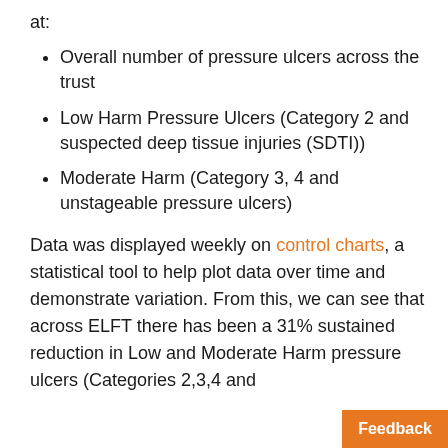at:
Overall number of pressure ulcers across the trust
Low Harm Pressure Ulcers (Category 2 and suspected deep tissue injuries (SDTI))
Moderate Harm (Category 3, 4 and unstageable pressure ulcers)
Data was displayed weekly on control charts, a statistical tool to help plot data over time and demonstrate variation. From this, we can see that across ELFT there has been a 31% sustained reduction in Low and Moderate Harm pressure ulcers (Categories 2,3,4 and